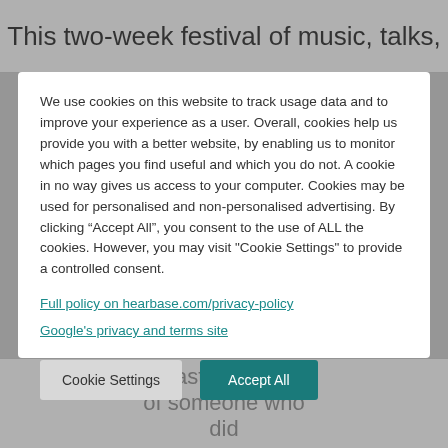This two-week festival of music, talks,
We use cookies on this website to track usage data and to improve your experience as a user. Overall, cookies help us provide you with a better website, by enabling us to monitor which pages you find useful and which you do not. A cookie in no way gives us access to your computer. Cookies may be used for personalised and non-personalised advertising. By clicking “Accept All”, you consent to the use of ALL the cookies. However, you may visit "Cookie Settings" to provide a controlled consent.
Full policy on hearbase.com/privacy-policy
Google's privacy and terms site
Cookie Settings
Accept All
people with hearing loss. She is a
fantastic example of someone who did